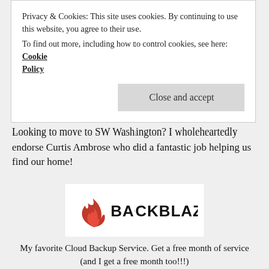Privacy & Cookies: This site uses cookies. By continuing to use this website, you agree to their use.
To find out more, including how to control cookies, see here: Cookie Policy
Close and accept
Looking to move to SW Washington? I wholeheartedly endorse Curtis Ambrose who did a fantastic job helping us find our home!
[Figure (logo): Backblaze logo — flame icon on left, BACKBLAZE in bold black text on right, on white background]
My favorite Cloud Backup Service. Get a free month of service (and I get a free month too!!!)
BOOKS I LIKE
[Figure (illustration): Book cover with green background showing text MILLENNIAL]
[Figure (illustration): Book cover with blue background showing partial text CHOOSE]